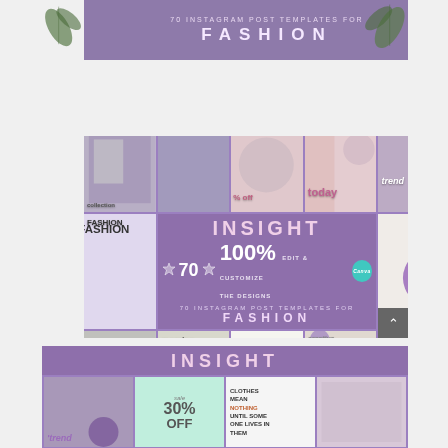[Figure (illustration): Purple banner with decorative leaves and text '70 INSTAGRAM POST TEMPLATES FOR FASHION']
[Figure (illustration): Grid of Instagram post template previews with central purple 'INSIGHT' panel showing '70 100% EDIT & CUSTOMIZE THE DESIGNS' with Canva badge and '70 INSTAGRAM POST TEMPLATES FOR FASHION']
[Figure (illustration): Purple 'INSIGHT' banner with grid of fashion template previews including 'trend', 'sale 30% OFF', 'CLOTHES MEAN NOTHING UNTIL SOME ONE LIVES IN THEM']